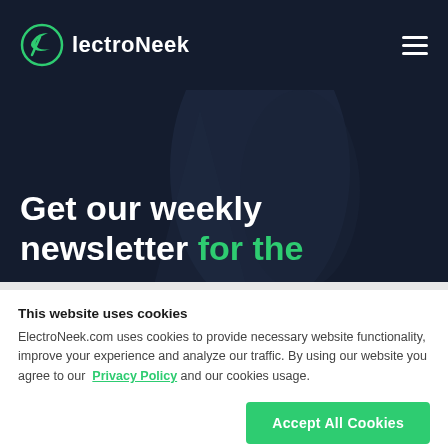ElectroNeek
Get our weekly newsletter for the
This website uses cookies
ElectroNeek.com uses cookies to provide necessary website functionality, improve your experience and analyze our traffic. By using our website you agree to our Privacy Policy and our cookies usage.
Accept All Cookies